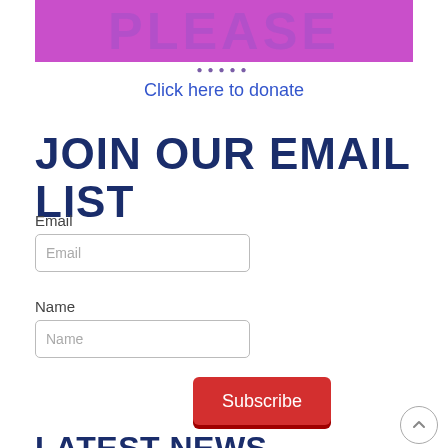[Figure (illustration): Purple/violet banner with large text 'PLEASE' in lighter overlay color, with dot navigation indicators below]
Click here to donate
JOIN OUR EMAIL LIST
Email
Email
Name
Name
Subscribe
LATEST NEWS